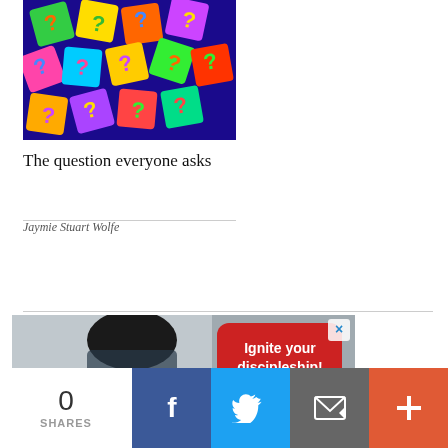[Figure (photo): Colorful question mark tiles in various bright colors (green, yellow, orange, pink, blue, purple) scattered together]
The question everyone asks
Jaymie Stuart Wolfe
[Figure (photo): Advertisement banner showing a person reading and red speech bubble text 'Ignite your discipleship!' with an X close button]
0 SHARES
[Figure (infographic): Social share buttons: Facebook (blue), Twitter (light blue), Email (grey), More/plus (orange-red)]